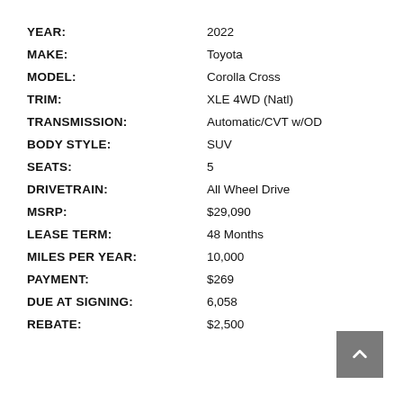| Field | Value |
| --- | --- |
| YEAR: | 2022 |
| MAKE: | Toyota |
| MODEL: | Corolla Cross |
| TRIM: | XLE 4WD (Natl) |
| TRANSMISSION: | Automatic/CVT w/OD |
| BODY STYLE: | SUV |
| SEATS: | 5 |
| DRIVETRAIN: | All Wheel Drive |
| MSRP: | $29,090 |
| LEASE TERM: | 48 Months |
| MILES PER YEAR: | 10,000 |
| PAYMENT: | $269 |
| DUE AT SIGNING: | 6,058 |
| REBATE: | $2,500 |